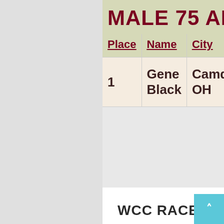MALE 75 AND OVER
| Place | Name | City | Age | Points |
| --- | --- | --- | --- | --- |
| 1 | Gene Black | Camden OH | 79 | 870. |
WCC RACES
Girls Inc 5K
Fireworks 5K
IU East Run With The Wolves 5K